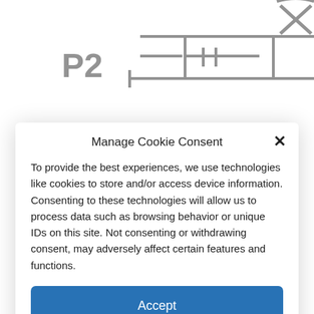[Figure (engineering-diagram): Partial engineering or circuit schematic diagram visible behind cookie consent modal, showing symbol P2 and ladder/relay logic symbols]
Manage Cookie Consent
To provide the best experiences, we use technologies like cookies to store and/or access device information. Consenting to these technologies will allow us to process data such as browsing behavior or unique IDs on this site. Not consenting or withdrawing consent, may adversely affect certain features and functions.
Accept
Deny
View preferences
Cookie Policy  Privacy Policy